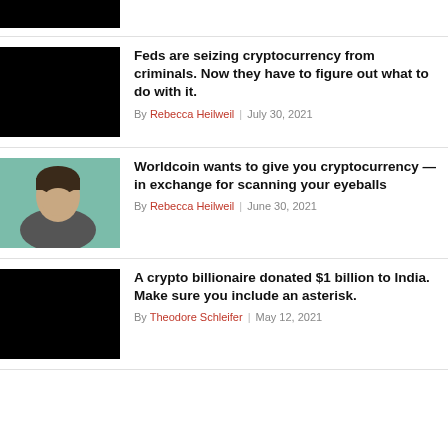[Figure (photo): Partially visible thumbnail image (cropped, black)]
[Figure (photo): Black thumbnail image for Feds seizing cryptocurrency article]
Feds are seizing cryptocurrency from criminals. Now they have to figure out what to do with it.
By Rebecca Heilweil | July 30, 2021
[Figure (photo): Photo of a man (Sam Altman) speaking, teal/green background]
Worldcoin wants to give you cryptocurrency — in exchange for scanning your eyeballs
By Rebecca Heilweil | June 30, 2021
[Figure (photo): Black thumbnail image for crypto billionaire article]
A crypto billionaire donated $1 billion to India. Make sure you include an asterisk.
By Theodore Schleifer | May 12, 2021